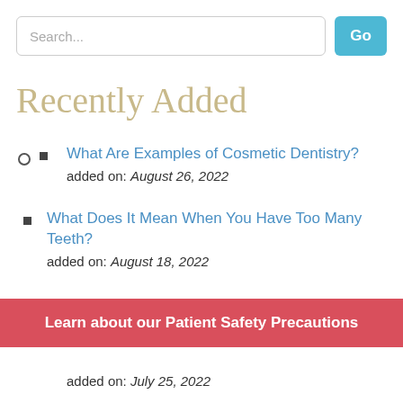Search...
Recently Added
What Are Examples of Cosmetic Dentistry?
added on: August 26, 2022
What Does It Mean When You Have Too Many Teeth?
added on: August 18, 2022
Learn about our Patient Safety Precautions
added on: July 25, 2022